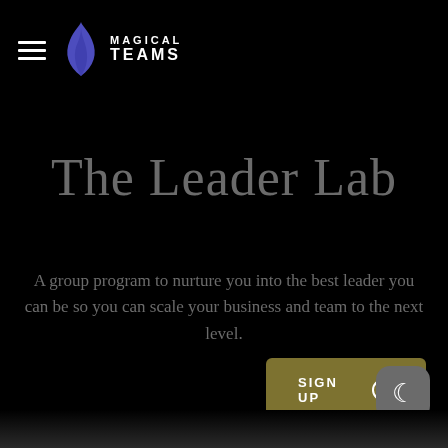[Figure (logo): Magical Teams logo with hamburger menu icon, stylized flame/drop icon in purple/blue, and text 'MAGICAL TEAMS' in white uppercase]
The Leader Lab
A group program to nurture you into the best leader you can be so you can scale your business and team to the next level.
[Figure (other): SIGN UP button with circle arrow icon, gold/olive background color]
[Figure (other): Dark mode toggle button with moon crescent icon, rounded square gray button in bottom right corner]